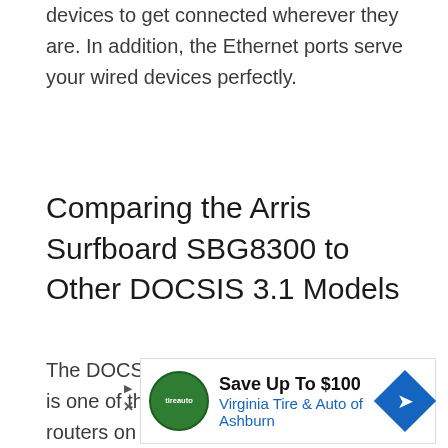devices to get connected wherever they are. In addition, the Ethernet ports serve your wired devices perfectly.
Comparing the Arris Surfboard SBG8300 to Other DOCSIS 3.1 Models
The DOCSIS 3.1 modem router from Arris is one of the most popular cable modem routers on the market. For those that are looking for a fast, reliable connection for their internet service, this is a great option.
[Figure (other): Advertisement banner: Save Up To $100 - Virginia Tire & Auto of Ashburn, with green circular logo and blue diamond arrow icon]